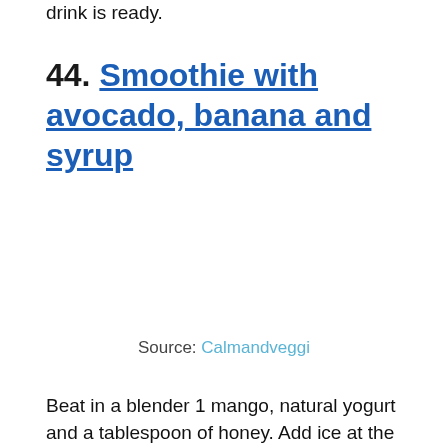drink is ready.
44. Smoothie with avocado, banana and syrup
Source: Calmandveggi
Beat in a blender 1 mango, natural yogurt and a tablespoon of honey. Add ice at the